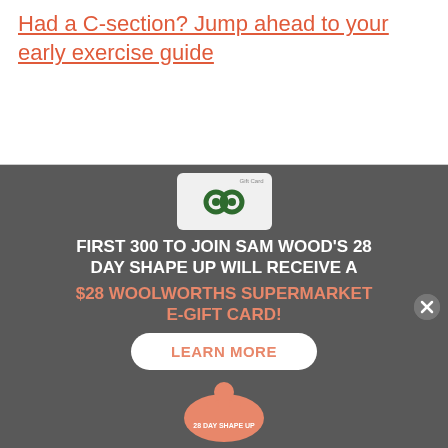Had a C-section? Jump ahead to your early exercise guide
[Figure (infographic): Advertisement for Sam Wood's 28 Day Shape Up program featuring a Woolworths Gift Card. Dark grey background with a Woolworths e-gift card image at top, bold white text 'FIRST 300 TO JOIN SAM WOOD'S 28 DAY SHAPE UP WILL RECEIVE A', orange text '$28 WOOLWORTHS SUPERMARKET E-GIFT CARD!', a white 'LEARN MORE' button, and a 28 Day Shape Up badge with a man at the bottom. A close (X) button is on the right side.]